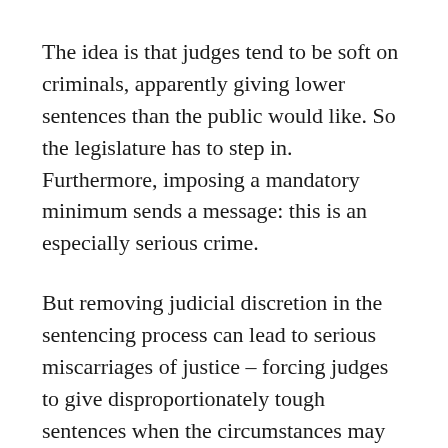The idea is that judges tend to be soft on criminals, apparently giving lower sentences than the public would like. So the legislature has to step in. Furthermore, imposing a mandatory minimum sends a message: this is an especially serious crime.
But removing judicial discretion in the sentencing process can lead to serious miscarriages of justice – forcing judges to give disproportionately tough sentences when the circumstances may demand more leniency.
Nor, as the 2009 survey cited above makes clear, is there any consensus that mandatory